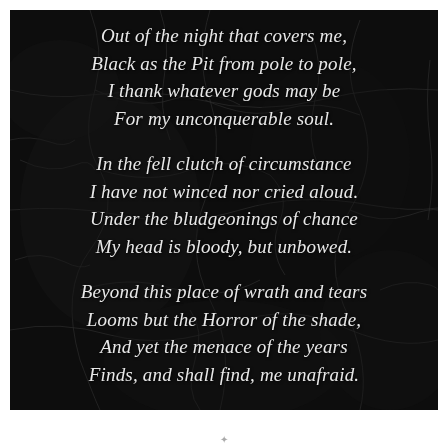[Figure (illustration): Dark/black cracked stone or marble texture background with poem text overlaid in white italic script]
Out of the night that covers me,
Black as the Pit from pole to pole,
I thank whatever gods may be
For my unconquerable soul.

In the fell clutch of circumstance
I have not winced nor cried aloud.
Under the bludgeonings of chance
My head is bloody, but unbowed.

Beyond this place of wrath and tears
Looms but the Horror of the shade,
And yet the menace of the years
Finds, and shall find, me unafraid.

It matters not how strait the gate,